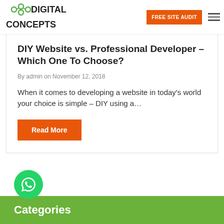Digital Concepts — FREE SITE AUDIT
DIY Website vs. Professional Developer – Which One To Choose?
By admin on November 12, 2018
When it comes to developing a website in today's world your choice is simple – DIY using a…
Read More
[Figure (logo): WhatsApp contact bubble icon]
Categories